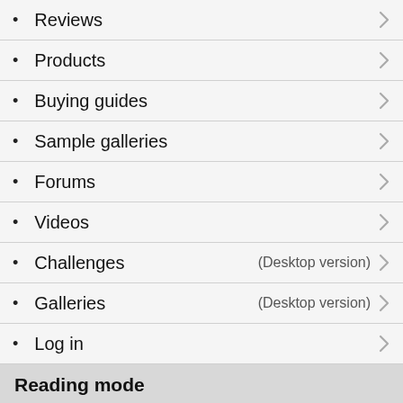Reviews
Products
Buying guides
Sample galleries
Forums
Videos
Challenges (Desktop version)
Galleries (Desktop version)
Log in
Reading mode
Light ☀
Dark 🌙
Switch to Desktop mode